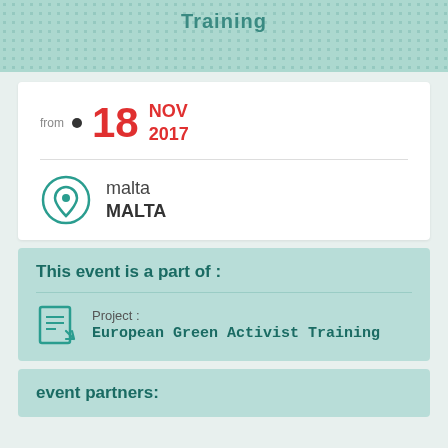Training
from 18 NOV 2017
malta MALTA
This event is a part of :
Project : European Green Activist Training
event partners: